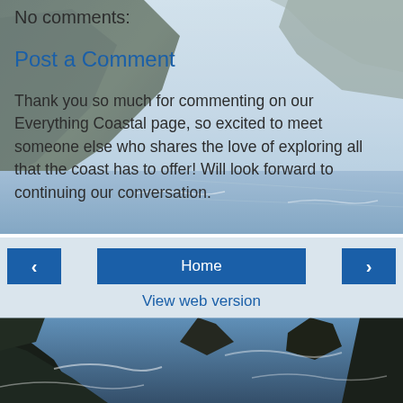[Figure (photo): Coastal cliffs and ocean photo background — rugged rocky cliffs with dark green vegetation descending to a blue-grey sea, misty sky, spanning the full page background in two sections (top and bottom).]
No comments:
Post a Comment
Thank you so much for commenting on our Everything Coastal page, so excited to meet someone else who shares the love of exploring all that the coast has to offer! Will look forward to continuing our conversation.
< Home >
View web version